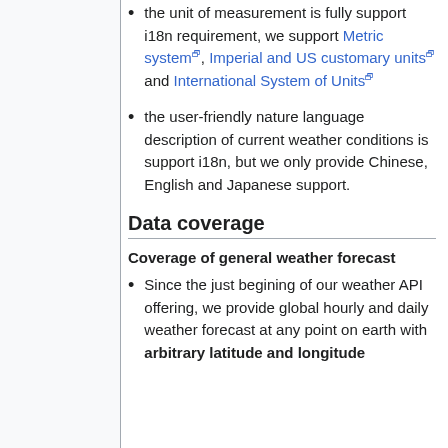the unit of measurement is fully support i18n requirement, we support Metric system, Imperial and US customary units and International System of Units
the user-friendly nature language description of current weather conditions is support i18n, but we only provide Chinese, English and Japanese support.
Data coverage
Coverage of general weather forecast
Since the just begining of our weather API offering, we provide global hourly and daily weather forecast at any point on earth with arbitrary latitude and longitude